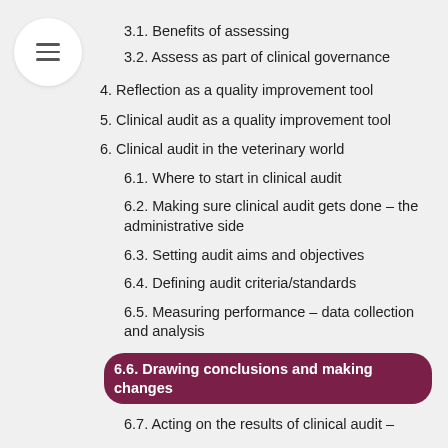3.1. Benefits of assessing
3.2. Assess as part of clinical governance
4. Reflection as a quality improvement tool
5. Clinical audit as a quality improvement tool
6. Clinical audit in the veterinary world
6.1. Where to start in clinical audit
6.2. Making sure clinical audit gets done – the administrative side
6.3. Setting audit aims and objectives
6.4. Defining audit criteria/standards
6.5. Measuring performance – data collection and analysis
6.6. Drawing conclusions and making changes
6.7. Acting on the results of clinical audit –